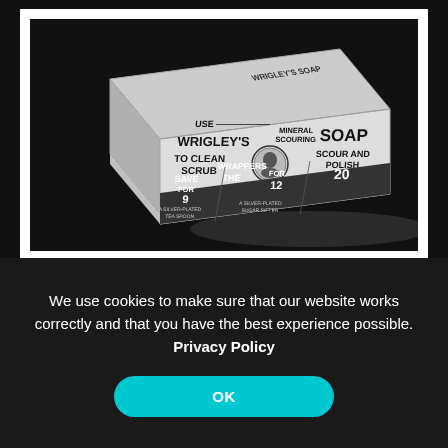[Figure (photo): Black and white photograph of a Wrigley's Mineral Scouring Soap box. The box reads: USE WRIGLEY'S MINERAL SCOURING SOAP, TO CLEAN SCRUB, SCOUR AND POLISH, SAVE THE WRAPPERS FOR 9 / FOR 12 / 20. The photo is displayed in a white-bordered frame against a dark background.]
We use cookies to make sure that our website works correctly and that you have the best experience possible. Privacy Policy
OK